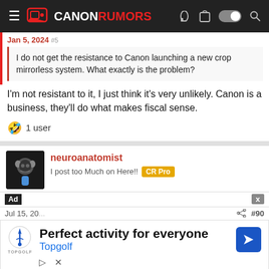Canon Rumors
Jan 5, etc. (author line partial)
I do not get the resistance to Canon launching a new crop mirrorless system. What exactly is the problem?
I'm not resistant to it, I just think it's very unlikely. Canon is a business, they'll do what makes fiscal sense.
🤣 1 user
neuroanatomist
I post too Much on Here!! CR Pro
[Figure (screenshot): Ad overlay: Topgolf advertisement - 'Perfect activity for everyone' with Topgolf branding and blue arrow icon]
Jul 15, 20...  #90
Advertisement
I explored more, I think a C... that the late... on the...